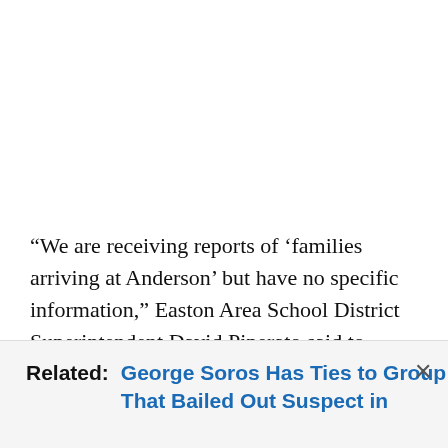“We are receiving reports of ‘families arriving at Anderson’ but have no specific information,” Easton Area School District Superintendent David Piperato said to lehighvalleylive.com.
Related: George Soros Has Ties to Group That Bailed Out Suspect in